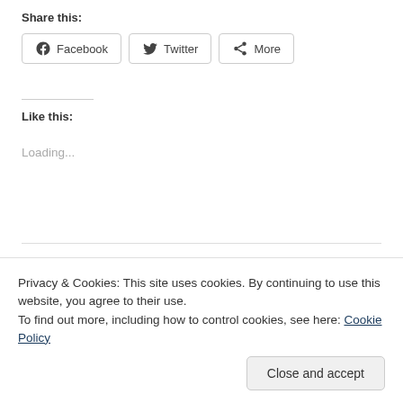Share this:
Facebook  Twitter  More
Like this:
Loading...
Privacy & Cookies: This site uses cookies. By continuing to use this website, you agree to their use.
To find out more, including how to control cookies, see here: Cookie Policy
Close and accept